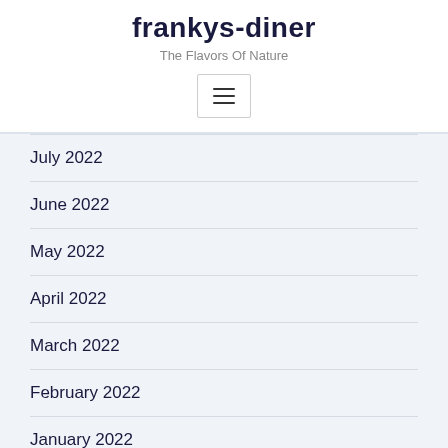frankys-diner
The Flavors Of Nature
[Figure (other): Hamburger menu button icon with three horizontal lines]
July 2022
June 2022
May 2022
April 2022
March 2022
February 2022
January 2022
December 2021